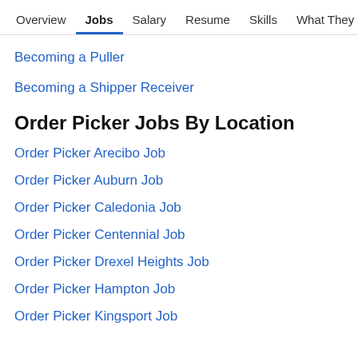Overview  Jobs  Salary  Resume  Skills  What They >
Becoming a Puller
Becoming a Shipper Receiver
Order Picker Jobs By Location
Order Picker Arecibo Job
Order Picker Auburn Job
Order Picker Caledonia Job
Order Picker Centennial Job
Order Picker Drexel Heights Job
Order Picker Hampton Job
Order Picker Kingsport Job